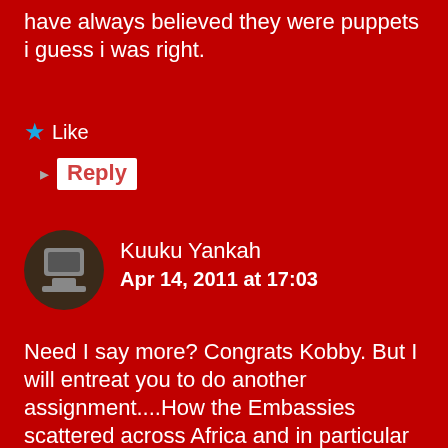have always believed they were puppets i guess i was right.
★ Like
Reply
Kuuku Yankah
Apr 14, 2011 at 17:03
Need I say more? Congrats Kobby. But I will entreat you to do another assignment....How the Embassies scattered across Africa and in particular Ghana are robbing Ghanaians just with the power of a pen! How is it that when you are refused a visa part or even the whole of your money is not returned? I recently applied for a 2 year visa from the British High Commission, the counsellor decided he would